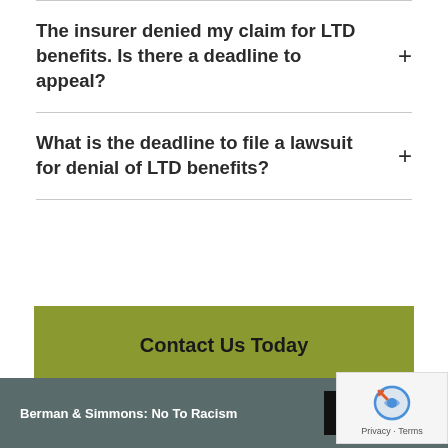The insurer denied my claim for LTD benefits. Is there a deadline to appeal?
What is the deadline to file a lawsuit for denial of LTD benefits?
[Figure (other): Green call-to-action button labeled 'Contact Us Today']
Berman & Simmons: No To Racism  Read More